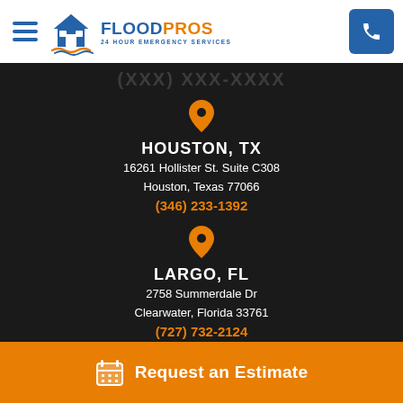[Figure (logo): FloodPros 24 Hour Emergency Services logo with house icon and water waves]
HOUSTON, TX
16261 Hollister St. Suite C308
Houston, Texas 77066
(346) 233-1392
LARGO, FL
2758 Summerdale Dr
Clearwater, Florida 33761
(727) 732-2124
Request an Estimate